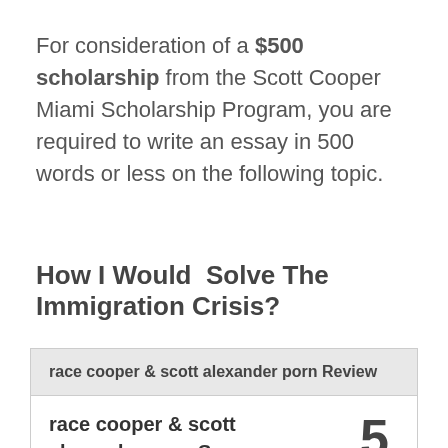For consideration of a $500 scholarship from the Scott Cooper Miami Scholarship Program, you are required to write an essay in 500 words or less on the following topic.
How I Would  Solve The Immigration Crisis?
| race cooper & scott alexander porn Review |
| --- |
| race cooper & scott
alexander porn Summary | 5 |